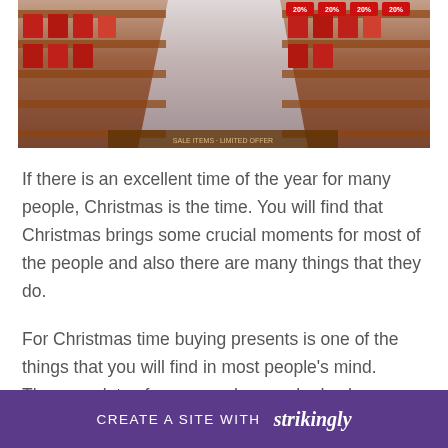[Figure (photo): A retail store aisle decorated for Christmas with red sale signs showing '20%' discounts, shelves with products on both sides, and bright lighting.]
If there is an excellent time of the year for many people, Christmas is the time. You will find that Christmas brings some crucial moments for most of the people and also there are many things that they do.
For Christmas time buying presents is one of the things that you will find in most people's mind. There are lots of reasons why people do choose this time to present their...
CREATE A SITE WITH strikingly